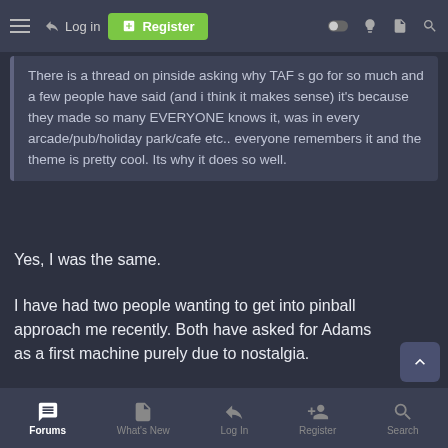Log in | Register
There is a thread on pinside asking why TAF s go for so much and a few people have said (and i think it makes sense) it's because they made so many EVERYONE knows it, was in every arcade/pub/holiday park/cafe etc.. everyone remembers it and the theme is pretty cool. Its why it does so well.
Yes, I was the same.
I have had two people wanting to get into pinball approach me recently. Both have asked for Adams as a first machine purely due to nostalgia.
VeeMonroe and Winnie
Forums | What's New | Log In | Register | Search